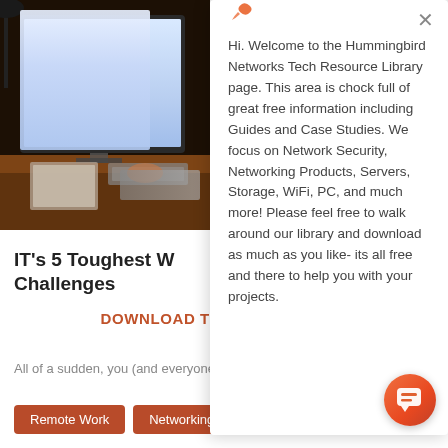[Figure (photo): Person using desktop computer in dark room, illuminated by monitor glow, with notebook and keyboard on desk]
IT’s 5 Toughest W… Challenges
Hi. Welcome to the Hummingbird Networks Tech Resource Library page. This area is chock full of great free information including Guides and Case Studies. We focus on Network Security, Networking Products, Servers, Storage, WiFi, PC, and much more! Please feel free to walk around our library and download as much as you like- its all free and there to help you with your projects.
DOWNLOAD THE FREE E-BOOK
All of a sudden, you (and everyone else) found…
Remote Work
Networking